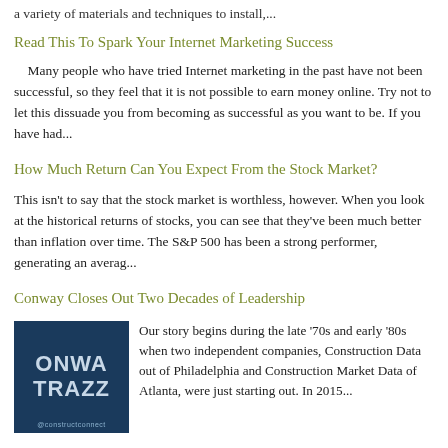a variety of materials and techniques to install,...
Read This To Spark Your Internet Marketing Success
Many people who have tried Internet marketing in the past have not been successful, so they feel that it is not possible to earn money online. Try not to let this dissuade you from becoming as successful as you want to be. If you have had...
How Much Return Can You Expect From the Stock Market?
This isn't to say that the stock market is worthless, however. When you look at the historical returns of stocks, you can see that they've been much better than inflation over time. The S&P 500 has been a strong performer, generating an averag...
Conway Closes Out Two Decades of Leadership
[Figure (photo): Dark blue thumbnail image with text 'ONWA TRAZZ' and small '@constructconnect' text at the bottom]
Our story begins during the late ‘70s and early ‘80s when two independent companies, Construction Data out of Philadelphia and Construction Market Data of Atlanta, were just starting out. In 2015...